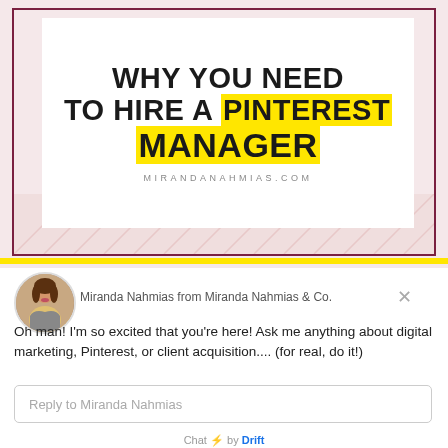[Figure (screenshot): Screenshot of a blog post image with title 'WHY YOU NEED TO HIRE A PINTEREST MANAGER' with yellow highlight on PINTEREST MANAGER, site name MIRANDANAHMIAS.COM, framed with dark red border on pink background]
Miranda Nahmias from Miranda Nahmias & Co.
Oh man! I'm so excited that you're here! Ask me anything about digital marketing, Pinterest, or client acquisition.... (for real, do it!)
Reply to Miranda Nahmias
Chat ⚡ by Drift